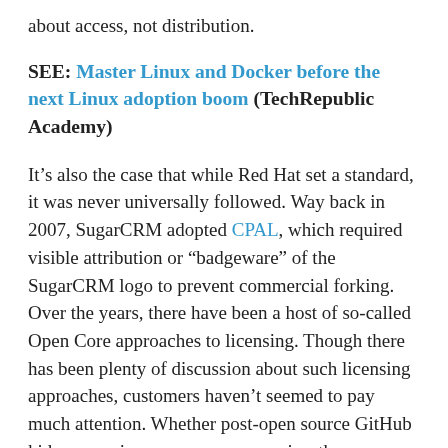about access, not distribution.
SEE: Master Linux and Docker before the next Linux adoption boom (TechRepublic Academy)
It’s also the case that while Red Hat set a standard, it was never universally followed. Way back in 2007, SugarCRM adopted CPAL, which required visible attribution or “badgeware” of the SugarCRM logo to prevent commercial forking. Over the years, there have been a host of so-called Open Core approaches to licensing. Though there has been plenty of discussion about such licensing approaches, customers haven’t seemed to pay much attention. Whether post-open source GitHub kids or quasi-open source companies, there no longer seems to be one accepted way to “do open source.”
I once thought this mattered. A lot. I’m no longer sure.
On the one hand, I liked the clarity of the Red Hat are